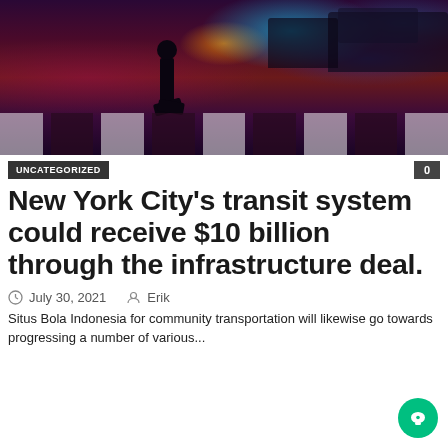[Figure (photo): Night urban street scene with pedestrian crossing a crosswalk, city cars and colorful lights in the background, purple and red hues]
UNCATEGORIZED
0
New York City's transit system could receive $10 billion through the infrastructure deal.
July 30, 2021   Erik
Situs Bola Indonesia for community transportation will likewise go towards progressing a number of various...